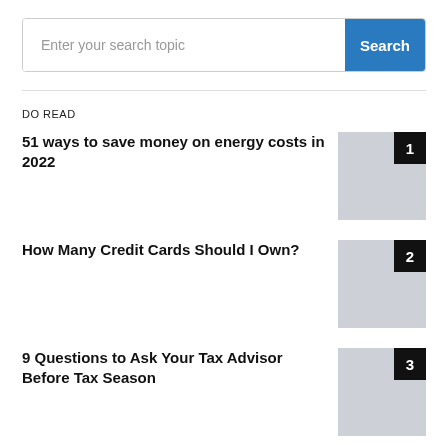[Figure (other): Search bar with text input placeholder 'Enter your search topic' and a blue Search button]
DO READ
51 ways to save money on energy costs in 2022
How Many Credit Cards Should I Own?
9 Questions to Ask Your Tax Advisor Before Tax Season